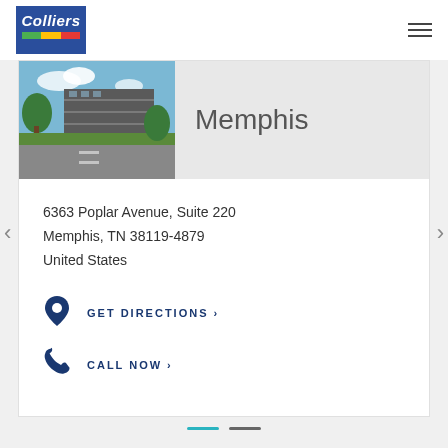[Figure (logo): Colliers logo — dark blue background with white italic text 'Colliers' and three colored stripes (green, yellow, red) at bottom]
[Figure (photo): Exterior photo of Colliers Memphis office building with parking structure and trees]
Memphis
6363 Poplar Avenue, Suite 220
Memphis, TN 38119-4879
United States
GET DIRECTIONS >
CALL NOW >